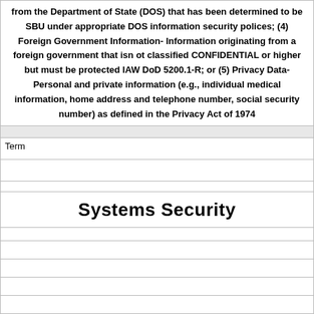from the Department of State (DOS) that has been determined to be SBU under appropriate DOS information security polices; (4) Foreign Government Information-Information originating from a foreign government that isn ot classified CONFIDENTIAL or higher but must be protected IAW DoD 5200.1-R; or (5) Privacy Data-Personal and private information (e.g., individual medical information, home address and telephone number, social security number) as defined in the Privacy Act of 1974
| Term |
| --- |
| Systems Security |
| Definition |
| --- |
| There are three parts to Systems Security. |